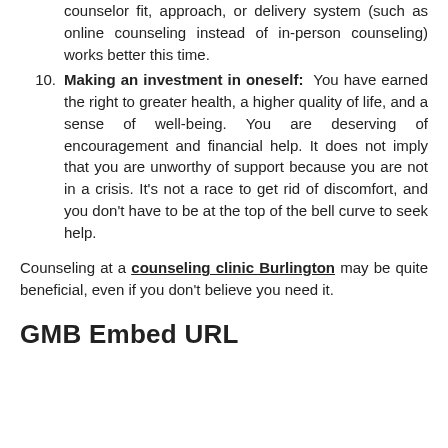counselor fit, approach, or delivery system (such as online counseling instead of in-person counseling) works better this time.
Making an investment in oneself: You have earned the right to greater health, a higher quality of life, and a sense of well-being. You are deserving of encouragement and financial help. It does not imply that you are unworthy of support because you are not in a crisis. It's not a race to get rid of discomfort, and you don't have to be at the top of the bell curve to seek help.
Counseling at a counseling clinic Burlington may be quite beneficial, even if you don't believe you need it.
GMB Embed URL